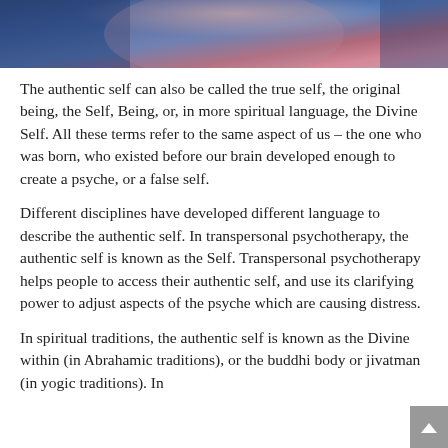[Figure (photo): Partial photo of a person wearing a blue jacket and pink/plaid clothing, cropped at the top of the page]
The authentic self can also be called the true self, the original being, the Self, Being, or, in more spiritual language, the Divine Self. All these terms refer to the same aspect of us – the one who was born, who existed before our brain developed enough to create a psyche, or a false self.
Different disciplines have developed different language to describe the authentic self. In transpersonal psychotherapy, the authentic self is known as the Self. Transpersonal psychotherapy helps people to access their authentic self, and use its clarifying power to adjust aspects of the psyche which are causing distress.
In spiritual traditions, the authentic self is known as the Divine within (in Abrahamic traditions), or the buddhi body or jivatman (in yogic traditions). In